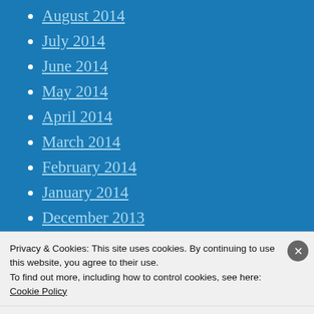August 2014
July 2014
June 2014
May 2014
April 2014
March 2014
February 2014
January 2014
December 2013
November 2013
October 2013
Privacy & Cookies: This site uses cookies. By continuing to use this website, you agree to their use.
To find out more, including how to control cookies, see here: Cookie Policy
Close and accept